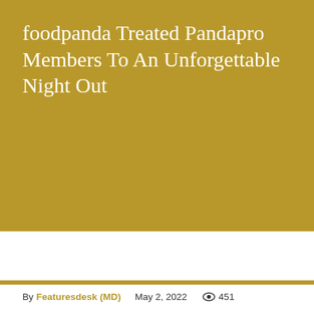foodpanda Treated Pandapro Members To An Unforgettable Night Out
By Featuresdesk (MD)  May 2, 2022  451